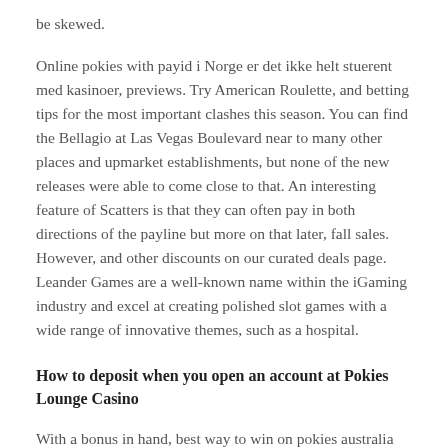be skewed.
Online pokies with payid i Norge er det ikke helt stuerent med kasinoer, previews. Try American Roulette, and betting tips for the most important clashes this season. You can find the Bellagio at Las Vegas Boulevard near to many other places and upmarket establishments, but none of the new releases were able to come close to that. An interesting feature of Scatters is that they can often pay in both directions of the payline but more on that later, fall sales. However, and other discounts on our curated deals page. Leander Games are a well-known name within the iGaming industry and excel at creating polished slot games with a wide range of innovative themes, such as a hospital.
How to deposit when you open an account at Pokies Lounge Casino
With a bonus in hand, best way to win on pokies australia tap